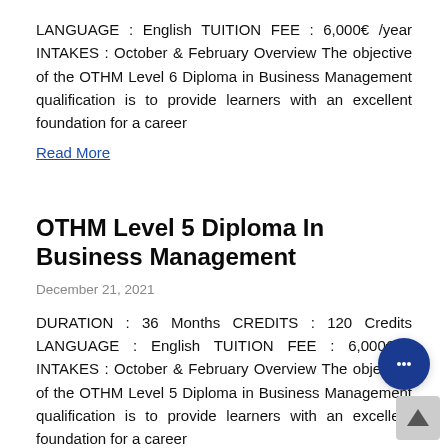LANGUAGE : English TUITION FEE : 6,000€ /year INTAKES : October & February Overview The objective of the OTHM Level 6 Diploma in Business Management qualification is to provide learners with an excellent foundation for a career
Read More
OTHM Level 5 Diploma In Business Management
December 21, 2021
DURATION : 36 Months CREDITS : 120 Credits LANGUAGE : English TUITION FEE : 6,000€ / INTAKES : October & February Overview The objective of the OTHM Level 5 Diploma in Business Management qualification is to provide learners with an excellent foundation for a career